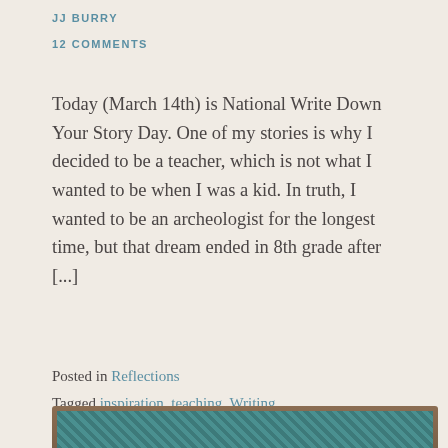JJ BURRY
12 COMMENTS
Today (March 14th) is National Write Down Your Story Day. One of my stories is why I decided to be a teacher, which is not what I wanted to be when I was a kid. In truth, I wanted to be an archeologist for the longest time, but that dream ended in 8th grade after [...]
Posted in Reflections
Tagged inspiration, teaching, Writing
[Figure (photo): Partial image strip at bottom of page showing a teal/turquoise patterned image with a brown border frame]